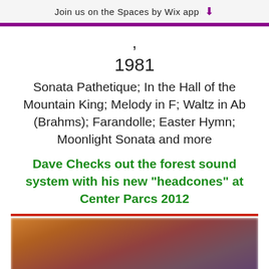Join us on the Spaces by Wix app
1981
Sonata Pathetique; In the Hall of the Mountain King; Melody in F; Waltz in Ab (Brahms); Farandolle; Easter Hymn; Moonlight Sonata and more
Dave Checks out the forest sound system with his new "headcones" at Center Parcs 2012
[Figure (photo): Blurred photo, warm orange and brown tones, people partially visible]